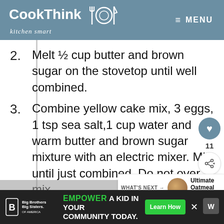CookThink kitchen smart — MENU
2. Melt ½ cup butter and brown sugar on the stovetop until well combined.
3. Combine yellow cake mix, 3 eggs, 1 tsp sea salt,1 cup water and warm butter and brown sugar mixture with an electric mixer. Mix until just combined. Do not over mix.
4. Divide batter evenly among cups, filling each about halfway full
WHAT'S NEXT → Ultimate Oatmeal Pie...
11
EMPOWER A KID IN YOUR COMMUNITY TODAY. Learn How